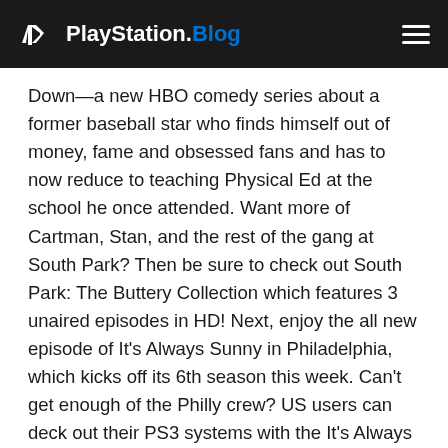PlayStation.Blog
Down—a new HBO comedy series about a former baseball star who finds himself out of money, fame and obsessed fans and has to now reduce to teaching Physical Ed at the school he once attended. Want more of Cartman, Stan, and the rest of the gang at South Park? Then be sure to check out South Park: The Buttery Collection which features 3 unaired episodes in HD! Next, enjoy the all new episode of It's Always Sunny in Philadelphia, which kicks off its 6th season this week. Can't get enough of the Philly crew? US users can deck out their PS3 systems with the It's Always Sunny in Philadelphia Theme.